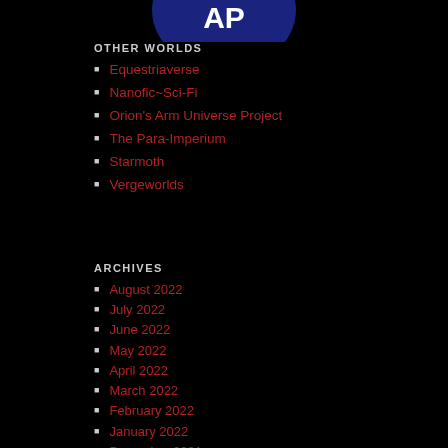[Figure (logo): Circular logo with dark blue background and white text 'AP' or similar, partially visible at top]
OTHER WORLDS
Equestriaverse
Nanofic~Sci-Fi
Orion's Arm Universe Project
The Para-Imperium
Starmoth
Vergeworlds
ARCHIVES
August 2022
July 2022
June 2022
May 2022
April 2022
March 2022
February 2022
January 2022
December 2021
November 2021
October 2021
September 2021